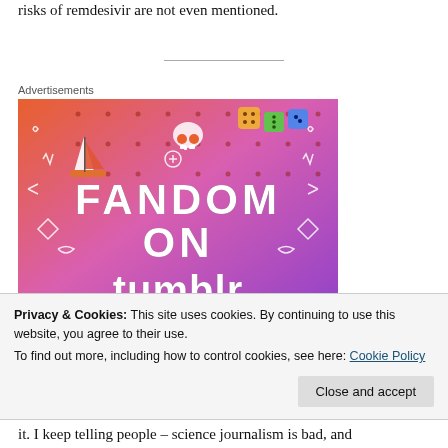risks of remdesivir are not even mentioned.
Advertisements
[Figure (illustration): Colorful advertisement for 'Fandom on Tumblr' with vibrant orange-to-purple gradient background and whimsical cartoon doodles including a sailboat, skull, dice, and the text FANDOM ON tumblr in bold letters.]
Privacy & Cookies: This site uses cookies. By continuing to use this website, you agree to their use.
To find out more, including how to control cookies, see here: Cookie Policy
it. I keep telling people – science journalism is bad, and